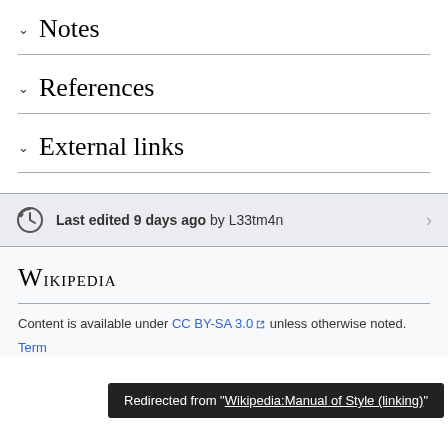∨  Notes
∨  References
∨  External links
Last edited 9 days ago by L33tm4n
Wikipedia
Content is available under CC BY-SA 3.0 unless otherwise noted.
Terms
Redirected from "Wikipedia:Manual of Style (linking)"